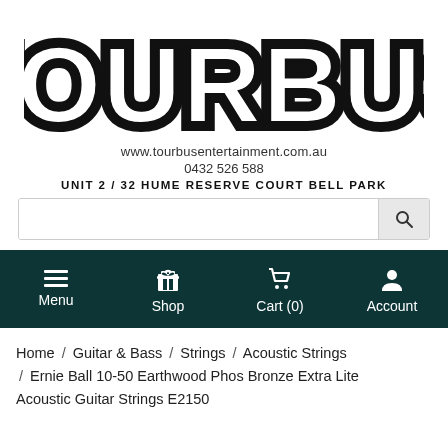[Figure (logo): TOURBUS logo in large bold outlined/striped letters]
www.tourbusentertainment.com.au
0432 526 588
UNIT 2 / 32 HUME RESERVE COURT BELL PARK
[Figure (other): Search bar with search button]
[Figure (other): Navigation bar with Menu, Shop, Cart (0), Account icons]
Home / Guitar & Bass / Strings / Acoustic Strings / Ernie Ball 10-50 Earthwood Phos Bronze Extra Lite Acoustic Guitar Strings E2150